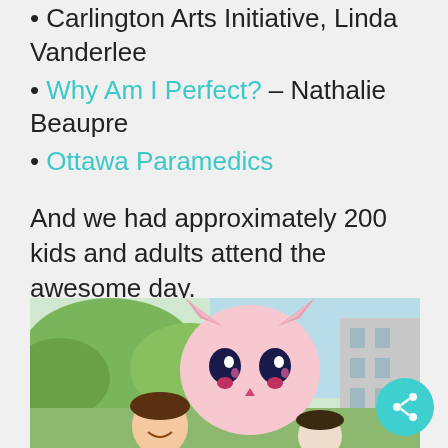• Carlington Arts Initiative, Linda Vanderlee
• Why Am I Perfect? – Nathalie Beaupre
• Ottawa Paramedics
And we had approximately 200 kids and adults attend the awesome day.
Here are some great photos from the day ....
[Figure (photo): Photo of two women smiling outdoors with a large pink cartoon cat mascot head balloon or costume behind them, green trees and a building visible in the background. A teal share button is overlaid in the bottom right.]